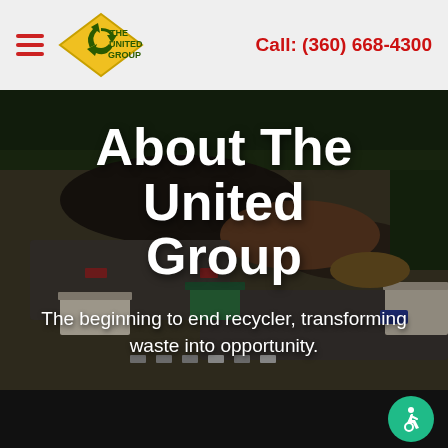The United Group — Call: (360) 668-4300
[Figure (photo): Aerial drone photograph of an industrial recycling/waste processing facility yard showing trucks, buildings, piles of material, and surrounding forested landscape. Dark overcast conditions.]
About The United Group
The beginning to end recycler, transforming waste into opportunity.
Accessibility icon (wheelchair user)